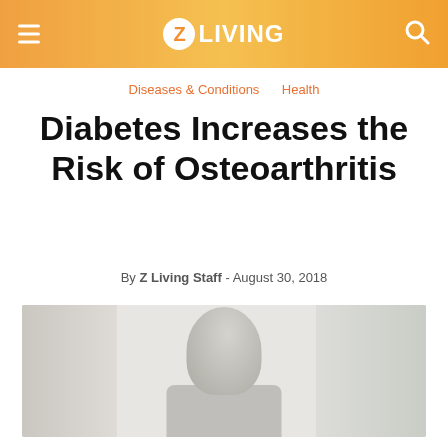Z Living
Diseases & Conditions   Health
Diabetes Increases the Risk of Osteoarthritis
By Z Living Staff - August 30, 2018
[Figure (photo): Elderly person photographed from behind/side in a light clinical or home setting with curtains in the background]